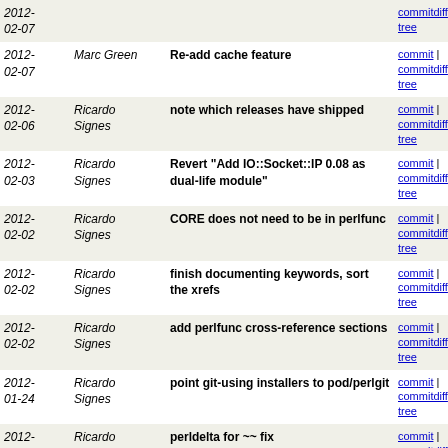| Date | Author | Message | Links |
| --- | --- | --- | --- |
| 2012-02-07 |  |  | commitdiff | tree |
| 2012-02-07 | Marc Green | Re-add cache feature | commit | commitdiff | tree |
| 2012-02-06 | Ricardo Signes | note which releases have shipped | commit | commitdiff | tree |
| 2012-02-03 | Ricardo Signes | Revert "Add IO::Socket::IP 0.08 as dual-life module" | commit | commitdiff | tree |
| 2012-02-02 | Ricardo Signes | CORE does not need to be in perlfunc | commit | commitdiff | tree |
| 2012-02-02 | Ricardo Signes | finish documenting keywords, sort the xrefs | commit | commitdiff | tree |
| 2012-02-02 | Ricardo Signes | add perlfunc cross-reference sections | commit | commitdiff | tree |
| 2012-01-24 | Ricardo Signes | point git-using installers to pod/perlgit | commit | commitdiff | tree |
| 2012-01-24 | Ricardo Signes | perldelta for ~~ fix | commit | commitdiff | tree |
| 2012-01-24 | Leon Timmermans | Enforce Any ~~ Object smartmatch precedence | commit | commitdiff | tree |
| 2012-01-20 | Ricardo Signes | begin filling the 5.16.0 delta from 5.15.2 | commit | commitdiff | tree |
| 2012-01-20 | Ricardo Signes | begin filling the 5.16.0 delta from 5.15.1 | commit | commitdiff | tree |
| 2012-01-20 | Ricardo Signes | begin filling the 5.16.0 delta from 5.15.0 | commit | commitdiff | tree |
| 2012-01-1x | Shlomi Fish | perl5db.t: add the DebugWrap... | commit | commitdiff |